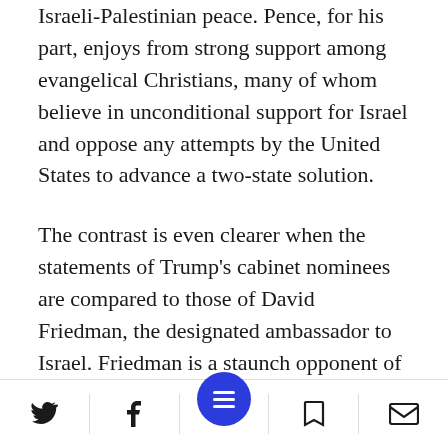Israeli-Palestinian peace. Pence, for his part, enjoys from strong support among evangelical Christians, many of whom believe in unconditional support for Israel and oppose any attempts by the United States to advance a two-state solution.
The contrast is even clearer when the statements of Trump's cabinet nominees are compared to those of David Friedman, the designated ambassador to Israel. Friedman is a staunch opponent of the two-state solution, has accused President Barack Obama and the U.S. State Department of Anti-Semitism, and
Social share toolbar with Twitter, Facebook, menu, bookmark, and email icons